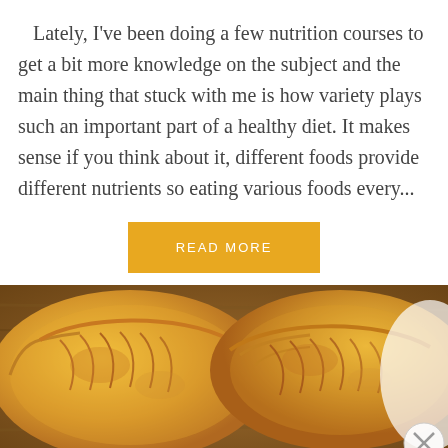Lately, I've been doing a few nutrition courses to get a bit more knowledge on the subject and the main thing that stuck with me is how variety plays such an important part of a healthy diet. It makes sense if you think about it, different foods provide different nutrients so eating various foods every...
READ MORE
[Figure (photo): Two golden baked pastries/empanadas on a wooden cutting board, viewed from above. A partial white plate is visible on the right side.]
Advertisements
[Figure (screenshot): DuckDuckGo advertisement banner. Left side is orange/red with text 'Search, browse, and email with more privacy. All in One Free App'. Right side is dark with DuckDuckGo duck logo and DuckDuckGo text.]